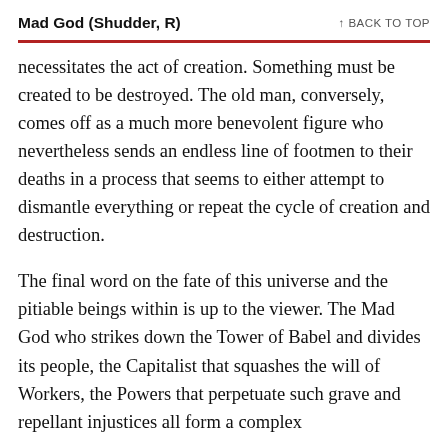Mad God (Shudder, R) — BACK TO TOP
necessitates the act of creation. Something must be created to be destroyed. The old man, conversely, comes off as a much more benevolent figure who nevertheless sends an endless line of footmen to their deaths in a process that seems to either attempt to dismantle everything or repeat the cycle of creation and destruction.
The final word on the fate of this universe and the pitiable beings within is up to the viewer. The Mad God who strikes down the Tower of Babel and divides its people, the Capitalist that squashes the will of Workers, the Powers that perpetuate such grave and repellant injustices all form a complex